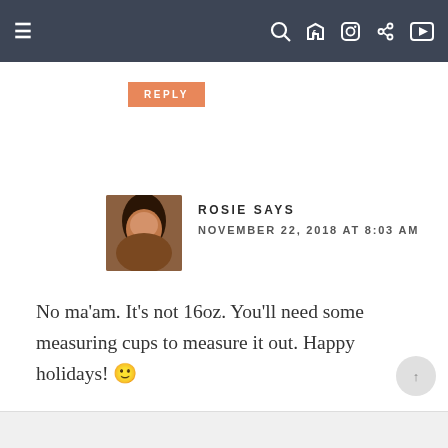Navigation bar with hamburger menu and social icons
REPLY
ROSIE SAYS
NOVEMBER 22, 2018 AT 8:03 AM
No ma'am. It's not 16oz. You'll need some measuring cups to measure it out. Happy holidays! 🙂
REPLY